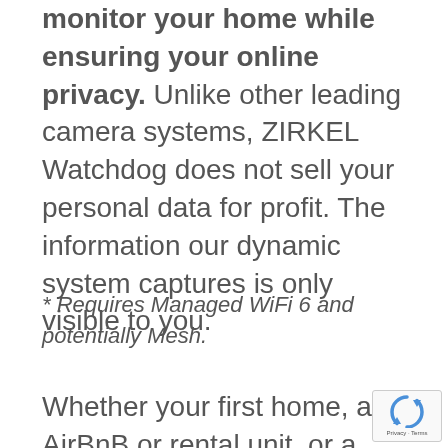monitor your home while ensuring your online privacy. Unlike other leading camera systems, ZIRKEL Watchdog does not sell your personal data for profit. The information our dynamic system captures is only visible to you.
* Requires Managed WiFi 6 and potentially Mesh.
Whether your first home, an AirBnB or rental unit, or a vacation home, ZIRKEL